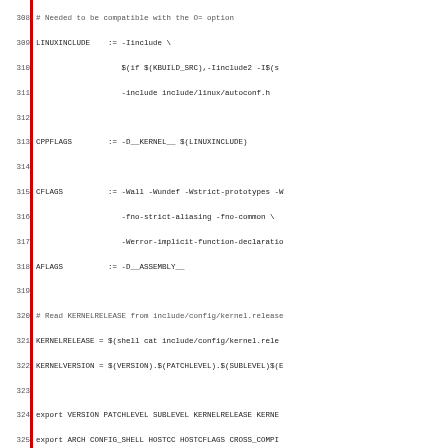Source code / Makefile snippet, lines 308–339, showing Linux kernel build variable definitions including LINUXINCLUDE, CPPFLAGS, CFLAGS, AFLAGS, KERNELRELEASE, KERNELVERSION, export statements, MODVERDIR, and a comment about files to ignore in find statements.